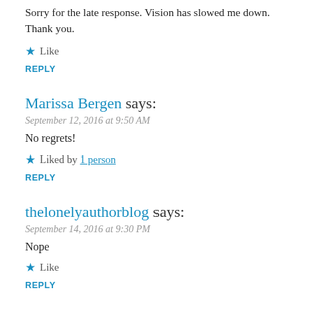Sorry for the late response. Vision has slowed me down. Thank you.
★ Like
REPLY
Marissa Bergen says:
September 12, 2016 at 9:50 AM
No regrets!
★ Liked by 1 person
REPLY
thelonelyauthorblog says:
September 14, 2016 at 9:30 PM
Nope
★ Like
REPLY